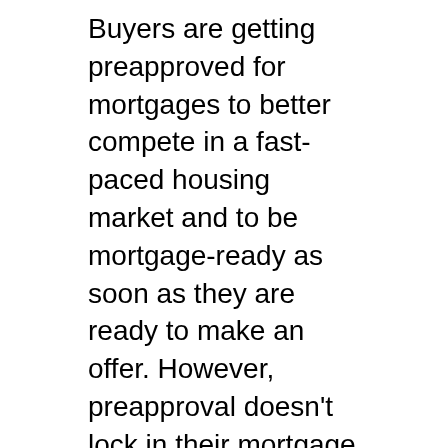Buyers are getting preapproved for mortgages to better compete in a fast-paced housing market and to be mortgage-ready as soon as they are ready to make an offer. However, preapproval doesn't lock in their mortgage rate, which can continue to rise.
Some buyers are finding that after their offer is accepted, they must stretch their budgets to afford rising mortgage rates. They face the choice of reducing their homebuying budget or taking on a higher monthly mortgage payment.
In preapproval letters, the quoted